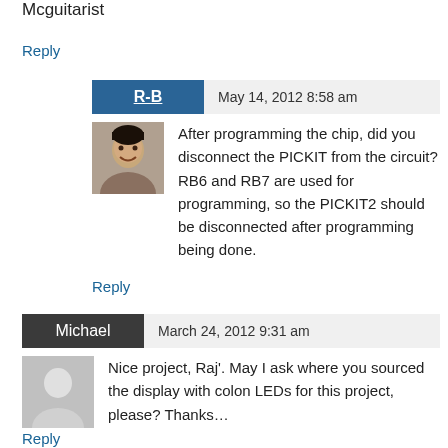Mcguitarist
Reply
R-B
May 14, 2012 8:58 am
After programming the chip, did you disconnect the PICKIT from the circuit? RB6 and RB7 are used for programming, so the PICKIT2 should be disconnected after programming being done.
Reply
Michael
March 24, 2012 9:31 am
Nice project, Raj'. May I ask where you sourced the display with colon LEDs for this project, please? Thanks…
Reply